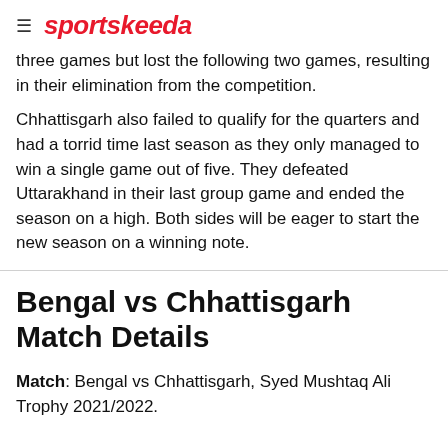sportskeeda
three games but lost the following two games, resulting in their elimination from the competition.
Chhattisgarh also failed to qualify for the quarters and had a torrid time last season as they only managed to win a single game out of five. They defeated Uttarakhand in their last group game and ended the season on a high. Both sides will be eager to start the new season on a winning note.
Bengal vs Chhattisgarh Match Details
Match: Bengal vs Chhattisgarh, Syed Mushtaq Ali Trophy 2021/2022.